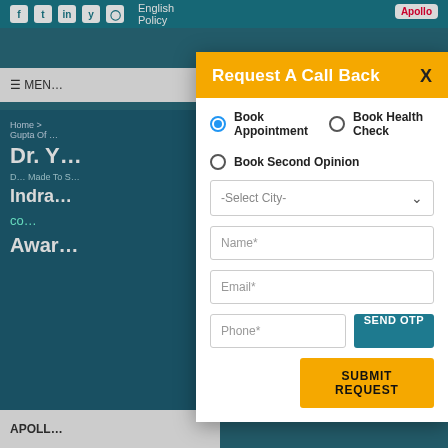English Policy — Apollo
Request A Call Back
Book Appointment (selected)
Book Health Check
Book Second Opinion
-Select City-
Name*
Email*
Phone*
SEND OTP
SUBMIT REQUEST